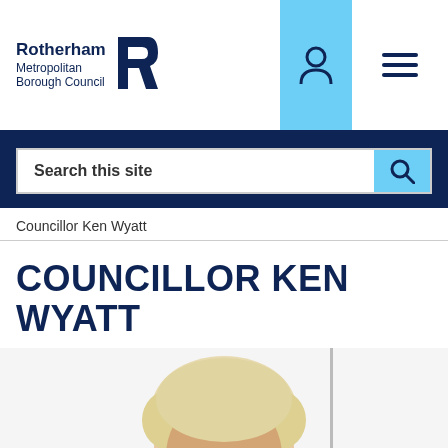[Figure (logo): Rotherham Metropolitan Borough Council logo with stylised R icon]
Search this site
Councillor Ken Wyatt
COUNCILLOR KEN WYATT
[Figure (photo): Photo of Councillor Ken Wyatt, a man with blonde/grey hair]